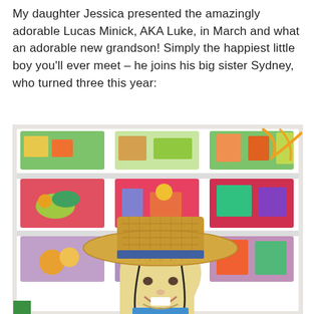My daughter Jessica presented the amazingly adorable Lucas Minick, AKA Luke, in March and what an adorable new grandson! Simply the happiest little boy you'll ever meet – he joins his big sister Sydney, who turned three this year:
[Figure (photo): A young girl (Sydney) smiling and wearing a large straw hat with a blue band, standing in front of a colorful toy storage shelving unit filled with bins of toys in green, pink, and purple colors.]